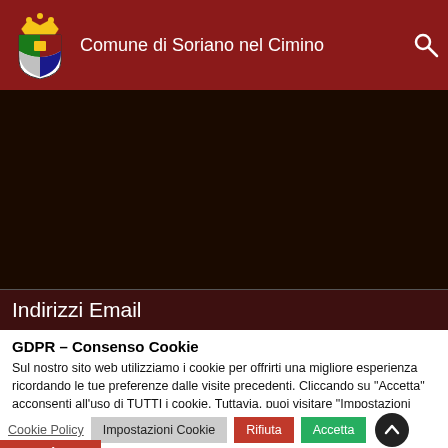Comune di Soriano nel Cimino
[Figure (logo): Coat of arms logo of Comune di Soriano nel Cimino]
Indirizzi Email
GDPR – Consenso Cookie
Sul nostro sito web utilizziamo i cookie per offrirti una migliore esperienza ricordando le tue preferenze dalle visite precedenti. Cliccando su “Accetta” acconsenti all’uso di TUTTI i cookie. Tuttavia, puoi visitare “Impostazioni cookie” per fornire un consenso controllato. Cliccando su “Rifiuta” potrai consultare ugualmente il sito ma alcune funzionalità potrebbero non essere disponibili.
Cookie Policy  Impostazioni Cookie  Rifiuta  Accetta
Translate »